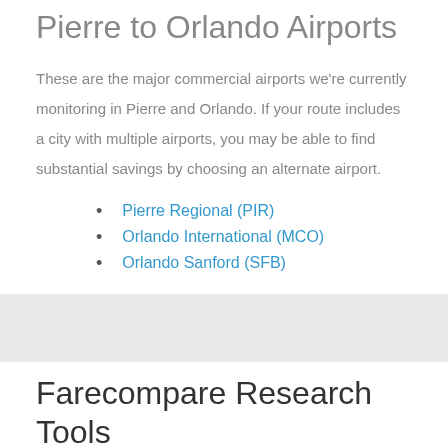Pierre to Orlando Airports
These are the major commercial airports we're currently monitoring in Pierre and Orlando. If your route includes a city with multiple airports, you may be able to find substantial savings by choosing an alternate airport.
Pierre Regional (PIR)
Orlando International (MCO)
Orlando Sanford (SFB)
Farecompare Research Tools